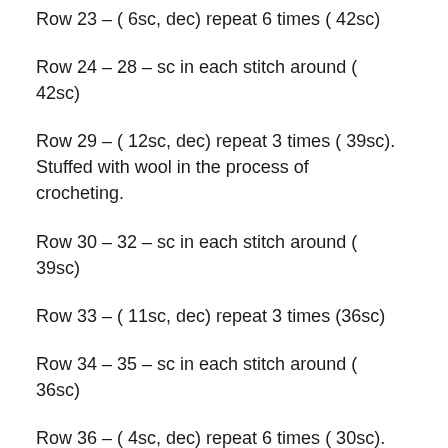Row 23 – ( 6sc, dec) repeat 6 times ( 42sc)
Row 24 – 28 – sc in each stitch around ( 42sc)
Row 29 – ( 12sc, dec) repeat 3 times ( 39sc). Stuffed with wool in the process of crocheting.
Row 30 – 32 – sc in each stitch around ( 39sc)
Row 33 – ( 11sc, dec) repeat 3 times (36sc)
Row 34 – 35 – sc in each stitch around ( 36sc)
Row 36 – ( 4sc, dec) repeat 6 times ( 30sc).